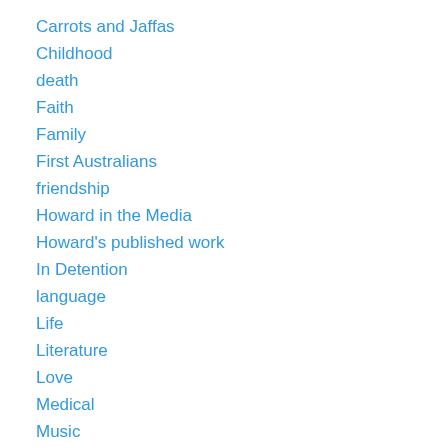Carrots and Jaffas
Childhood
death
Faith
Family
First Australians
friendship
Howard in the Media
Howard's published work
In Detention
language
Life
Literature
Love
Medical
Music
My Father's Compass
Opinion
Poetry
racing